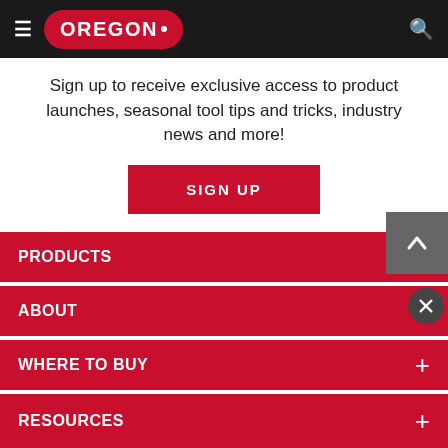OREGON (logo) navigation bar with hamburger menu and search icon
Sign up to receive exclusive access to product launches, seasonal tool tips and tricks, industry news and more!
SIGN UP
PRODUCTS +
ABOUT +
WHERE TO BUY +
RESOURCES +
This website stores data such as cookies to enable essential site functionality, as well as marketing, personalization, and analytics. By remaining on this website you indicate your consent. Cookie Notice